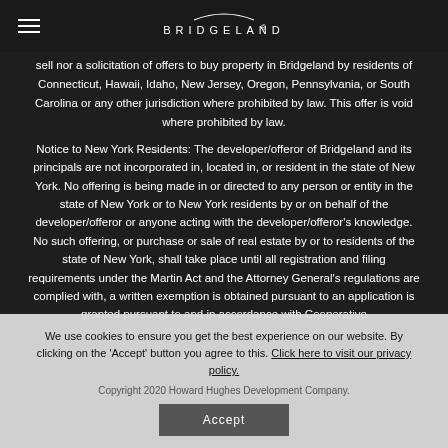BRIDGELAND
sell nor a solicitation of offers to buy property in Bridgeland by residents of Connecticut, Hawaii, Idaho, New Jersey, Oregon, Pennsylvania, or South Carolina or any other jurisdiction where prohibited by law. This offer is void where prohibited by law.
Notice to New York Residents: The developer/offeror of Bridgeland and its principals are not incorporated in, located in, or resident in the state of New York. No offering is being made in or directed to any person or entity in the state of New York or to New York residents by or on behalf of the developer/offeror or anyone acting with the developer/offeror's knowledge. No such offering, or purchase or sale of real estate by or to residents of the state of New York, shall take place until all registration and filing requirements under the Martin Act and the Attorney General's regulations are complied with, a written exemption is obtained pursuant to an application is granted pursuant to and in accordance with Cooperative Policy Statements #1 or #7, or a 'No Action' request is granted.
We use cookies to ensure you get the best experience on our website. By clicking on the 'Accept' button you agree to this. Click here to visit our privacy policy.
Copyright 2020 Howard Hughes Development Company.